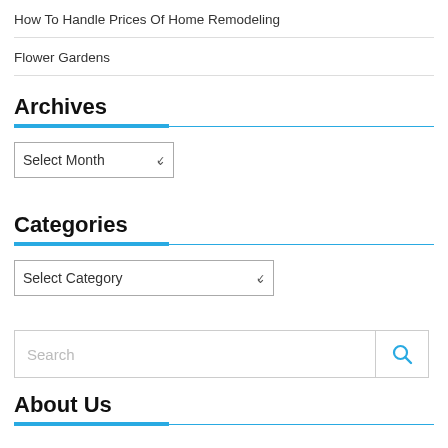How To Handle Prices Of Home Remodeling
Flower Gardens
Archives
[Figure (screenshot): Dropdown widget labeled 'Select Month']
Categories
[Figure (screenshot): Dropdown widget labeled 'Select Category']
[Figure (screenshot): Search input box with magnifying glass icon]
About Us